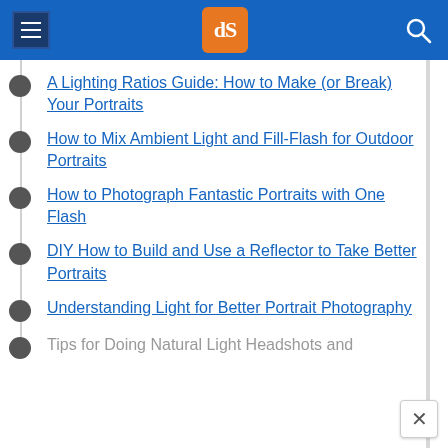dPS (Digital Photography School) navigation header
A Lighting Ratios Guide: How to Make (or Break) Your Portraits
How to Mix Ambient Light and Fill-Flash for Outdoor Portraits
How to Photograph Fantastic Portraits with One Flash
DIY How to Build and Use a Reflector to Take Better Portraits
Understanding Light for Better Portrait Photography
Tips for Doing Natural Light Headshots and